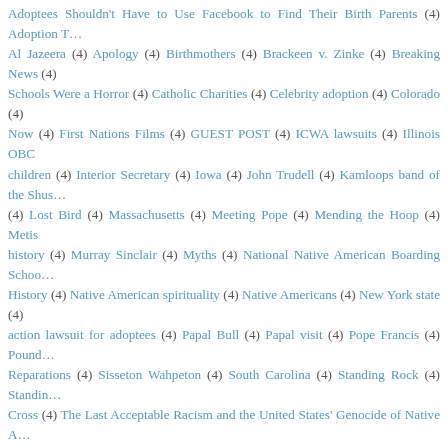Adoptees Shouldn't Have to Use Facebook to Find Their Birth Parents (4) Adoption T... Al Jazeera (4) Apology (4) Birthmothers (4) Brackeen v. Zinke (4) Breaking News (4) Schools Were a Horror (4) Catholic Charities (4) Celebrity adoption (4) Colorado (4) Now (4) First Nations Films (4) GUEST POST (4) ICWA lawsuits (4) Illinois OBC children (4) Interior Secretary (4) Iowa (4) John Trudell (4) Kamloops band of the Shu... (4) Lost Bird (4) Massachusetts (4) Meeting Pope (4) Mending the Hoop (4) Metis history (4) Murray Sinclair (4) Myths (4) National Native American Boarding Scho... History (4) Native American spirituality (4) Native Americans (4) New York state (4) action lawsuit for adoptees (4) Papal Bull (4) Papal visit (4) Pope Francis (4) Pound... Reparations (4) Sisseton Wahpeton (4) South Carolina (4) Standing Rock (4) Standin... Cross (4) The Last Acceptable Racism and the United States' Genocide of Native A... Reconciliation (4) U.S. Interior Secretary Deb Haaland (4) USA (4) Vancouver Isla... history (4) adoption trauma (4) connecticut (4) crimes against humanity (4) culture recognized tribes (4) human rights abuses (4) kinship adoption (4) land theft (4) ma... graves (4) movie review (4) reunion (4) search angels (4) splitfeathers syndrome (4) st... white supremacy (4) #BABYDAWN (3) #ICWAFactsheet (3) #WICWA (3) 2012 (3) (3) AIM (3) Addictions in Adoptees (3) Adoption Reality: Guatemala #NAAM (3) Advocating for Change (3) AlJazeera (3) Alberta (3) American Indian Child Welfare C... (3) Australian orphans (3) BC (3) Bitterroot: A Salish Memoir of Transracial Ad... Commanda v. Canada (3) CNN (3) Canadian History (3) Chad and Jennifer Bracke... Nation (3) Cree Nation (3) Cricket: Secret Child of a Sixties SuperModel (3) D... Lajimodiere (3) Dept. of Indian Affairs (3) Destruction of Victim Statements #60sSco... (3) Diane Tells His Name (3) Disappeared: Finding Survivors of the Indian Adoption P... Documentary Film (3) Dr. Phil's Hollywood-ized Adoption Propaganda (3) Earl Bl... Indian Boarding School Initiative (3) First Nations Orphans Association (3) First N... Alexander Residential School (3) Gregory D. Luce (3) High Country News (3) Home Indian Child Welfare (3) Indian Country News (3) Indian Problem (3) Indigenous